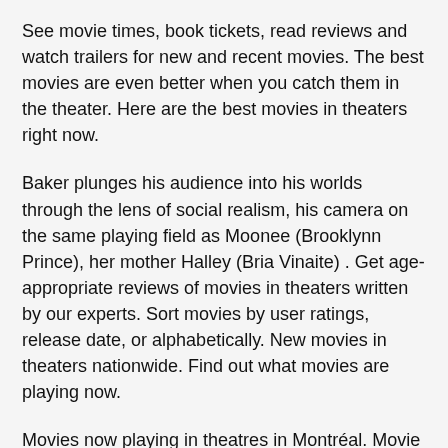See movie times, book tickets, read reviews and watch trailers for new and recent movies. The best movies are even better when you catch them in the theater. Here are the best movies in theaters right now.
Baker plunges his audience into his worlds through the lens of social realism, his camera on the same playing field as Moonee (Brooklynn Prince), her mother Halley (Bria Vinaite) . Get age-appropriate reviews of movies in theaters written by our experts. Sort movies by user ratings, release date, or alphabetically. New movies in theaters nationwide. Find out what movies are playing now.
Movies now playing in theatres in Montréal. Movie , TV, and pop culture fun for the whole family. Marcus Theatres is your resource for movies. Find a film from three categories – now playing , coming soon or event cinema, which includes a variety of live and recorded entertainment beyond traditional films. Marvel Studios Black Panther Trailer 2. In theaters February 16!
Star Wars: The Last Jedi. A pacifist bull is forced into the bullfighting